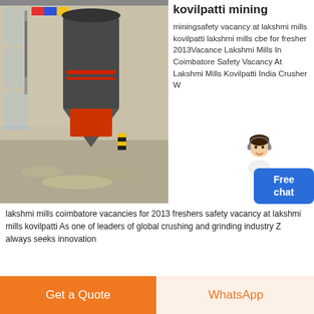[Figure (photo): Industrial grinding mill machine inside a factory warehouse with flags in background]
kovilpatti mining
miningsafety vacancy at lakshmi mills kovilpatti lakshmi mills cbe for fresher 2013Vacance Lakshmi Mills In Coimbatore Safety Vacancy At Lakshmi Mills Kovilpatti India Crusher W
lakshmi mills coimbatore vacancies for 2013 freshers safety vacancy at lakshmi mills kovilpatti As one of leaders of global crushing and grinding industry Z always seeks innovation
[Figure (screenshot): Chat support widget with female avatar and Free chat button in blue]
[Figure (other): Chat Online orange button]
[Figure (photo): PE series jaw crusher industrial equipment against blue sky]
pe series jaw crusher crushing equipment 1
safety vacancy at lakshmi mills kovilpatti hammer crushers throughput
[Figure (other): Get a Quote orange button and WhatsApp button at bottom]